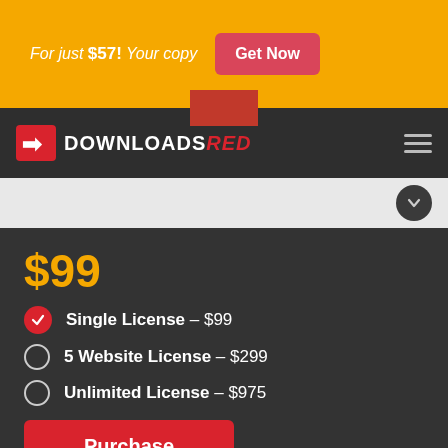For just $57! Your copy
Get Now
[Figure (logo): DownloadsRed logo with red arrow icon and text DOWNLOADS RED]
$99
Single License – $99
5 Website License – $299
Unlimited License – $975
Purchase